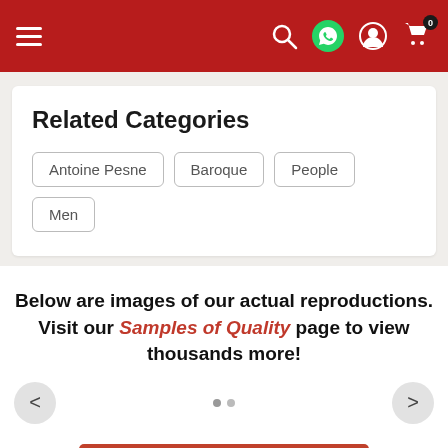Navigation bar with hamburger menu, search, WhatsApp, user, and cart (0) icons
Related Categories
Antoine Pesne
Baroque
People
Men
Below are images of our actual reproductions. Visit our Samples of Quality page to view thousands more!
View 1000's of more samples!